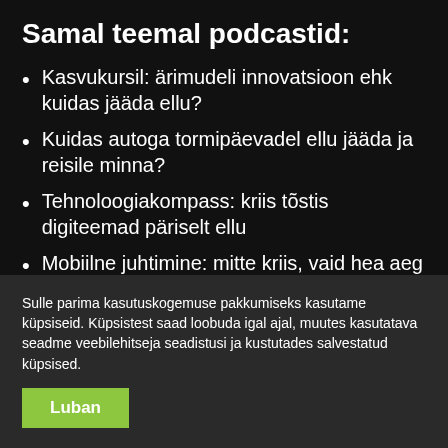Samal teemal podcastid:
Kasvukursil: ärimudeli innovatsioon ehk kuidas jääda ellu?
Kuidas autoga tormipäevadel ellu jääda ja reisile minna?
Tehnoloogiakompass: kriis tõstis digiteemad päriselt ellu
Mobiilne juhtimine: mitte kriis, vaid hea aeg suurte…
Sulle parima kasutuskogemuse pakkumiseks kasutame küpsiseid. Küpsistest saad loobuda igal ajal, muutes kasutatava seadme veebilehitseja seadistusi ja kustutades salvestatud küpsised.
Luban